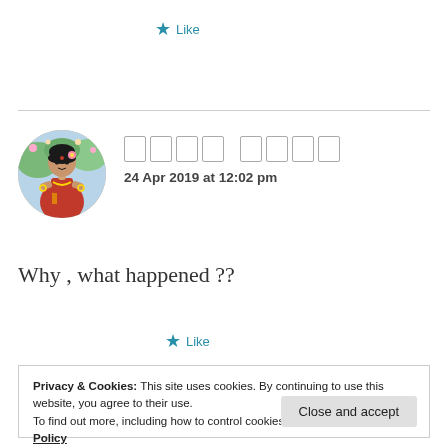★ Like
[Figure (photo): Circular avatar showing a woman in traditional Indian attire (red dress, jewelry), colorful background]
□□□□ □□□□
24 Apr 2019 at 12:02 pm
Why , what happened ??
★ Like
Privacy & Cookies: This site uses cookies. By continuing to use this website, you agree to their use.
To find out more, including how to control cookies, see here: Cookie Policy
Close and accept